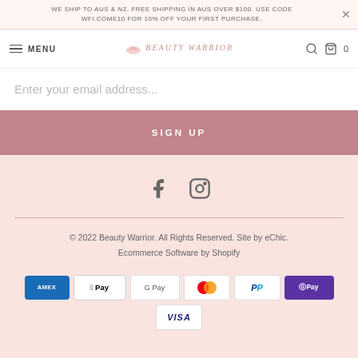WE SHIP TO AUS & NZ. FREE SHIPPING IN AUS OVER $100. USE CODE WFI.COME10 FOR 10% OFF YOUR FIRST PURCHASE.
[Figure (screenshot): Navigation bar with hamburger menu icon, MENU text, Beauty Warrior logo in center, search icon and cart with 0 items on right]
Enter your email address...
SIGN UP
[Figure (illustration): Facebook 'f' icon and Instagram camera icon in grey]
© 2022 Beauty Warrior. All Rights Reserved. Site by eChic. Ecommerce Software by Shopify
[Figure (other): Payment method icons: American Express, Apple Pay, Google Pay, Mastercard, PayPal, OPay, Visa]